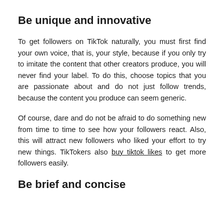Be unique and innovative
To get followers on TikTok naturally, you must first find your own voice, that is, your style, because if you only try to imitate the content that other creators produce, you will never find your label. To do this, choose topics that you are passionate about and do not just follow trends, because the content you produce can seem generic.
Of course, dare and do not be afraid to do something new from time to time to see how your followers react. Also, this will attract new followers who liked your effort to try new things. TikTokers also buy tiktok likes to get more followers easily.
Be brief and concise